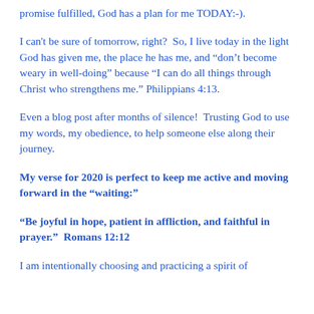promise fulfilled, God has a plan for me TODAY:-).
I can't be sure of tomorrow, right?  So, I live today in the light God has given me, the place he has me, and “don’t become weary in well-doing” because “I can do all things through Christ who strengthens me.” Philippians 4:13.
Even a blog post after months of silence!  Trusting God to use my words, my obedience, to help someone else along their journey.
My verse for 2020 is perfect to keep me active and moving forward in the “waiting:”
“Be joyful in hope, patient in affliction, and faithful in prayer.”  Romans 12:12
I am intentionally choosing and practicing a spirit of